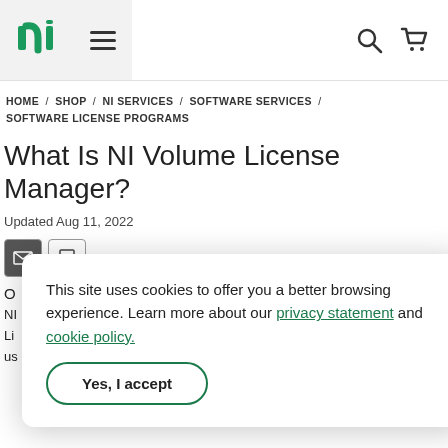NI logo | hamburger menu | search icon | cart icon
HOME / SHOP / NI SERVICES / SOFTWARE SERVICES / SOFTWARE LICENSE PROGRAMS
What Is NI Volume License Manager?
Updated Aug 11, 2022
[Figure (other): Email and print icon buttons]
This site uses cookies to offer you a better browsing experience. Learn more about our privacy statement and cookie policy.
Yes, I accept